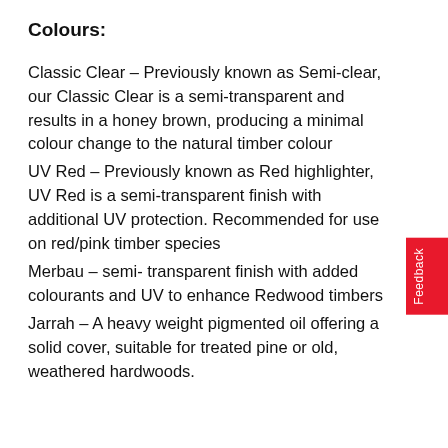Colours:
Classic Clear – Previously known as Semi-clear, our Classic Clear is a semi-transparent and results in a honey brown, producing a minimal colour change to the natural timber colour
UV Red – Previously known as Red highlighter, UV Red is a semi-transparent finish with additional UV protection. Recommended for use on red/pink timber species
Merbau – semi- transparent finish with added colourants and UV to enhance Redwood timbers
Jarrah – A heavy weight pigmented oil offering a solid cover, suitable for treated pine or old, weathered hardwoods.